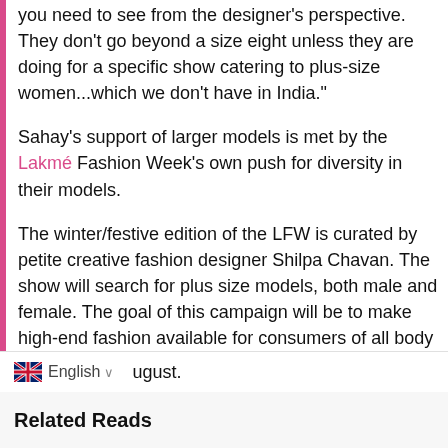you need to see from the designer's perspective. They don't go beyond a size eight unless they are doing for a specific show catering to plus-size women...which we don't have in India."
Sahay's support of larger models is met by the Lakmé Fashion Week's own push for diversity in their models.
The winter/festive edition of the LFW is curated by petite creative fashion designer Shilpa Chavan. The show will search for plus size models, both male and female. The goal of this campaign will be to make high-end fashion available for consumers of all body types.
Plus-size clothing store aLL will be collaborating with Chavan on this showcase. Auditions are being held on July 29th, and the show will be held at St. Regis in August.
English
Related Reads